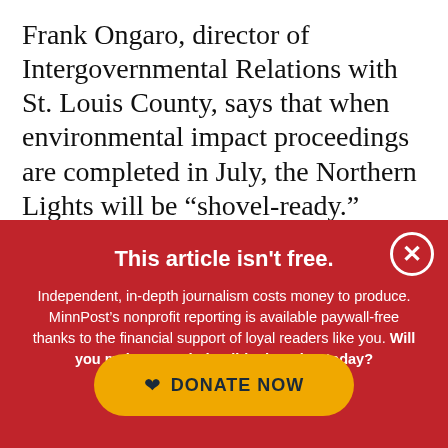Frank Ongaro, director of Intergovernmental Relations with St. Louis County, says that when environmental impact proceedings are completed in July, the Northern Lights will be “shovel-ready.”
“The timing is probably perfect for us,” he told
This article isn't free.
Independent, in-depth journalism costs money to produce. MinnPost’s nonprofit reporting is available paywall-free thanks to the financial support of loyal readers like you. Will you make a tax-deductible donation today?